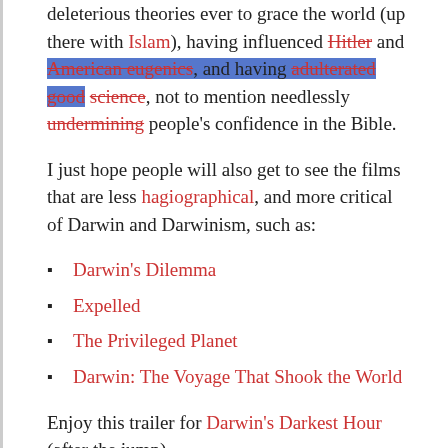deleterious theories ever to grace the world (up there with Islam), having influenced Hitler and American eugenics, and having adulterated good science, not to mention needlessly undermining people's confidence in the Bible.
I just hope people will also get to see the films that are less hagiographical, and more critical of Darwin and Darwinism, such as:
Darwin's Dilemma
Expelled
The Privileged Planet
Darwin: The Voyage That Shook the World
Enjoy this trailer for Darwin's Darkest Hour (after the jump)